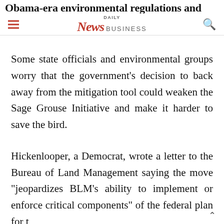Obama-era environmental regulations and practices
[Figure (logo): Daily News Business logo with hamburger menu icon and search icon]
Some state officials and environmental groups worry that the government’s decision to back away from the mitigation tool could weaken the Sage Grouse Initiative and make it harder to save the bird.
Hickenlooper, a Democrat, wrote a letter to the Bureau of Land Management saying the move “jeopardizes BLM’s ability to implement or enforce critical components” of the federal plan for t